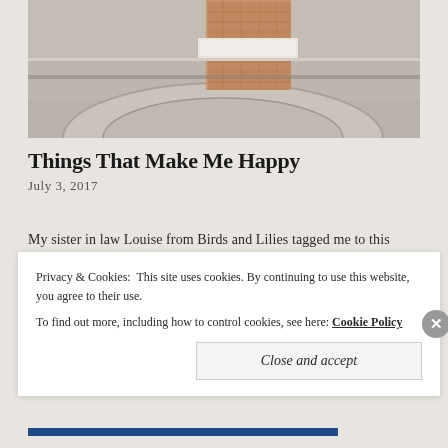[Figure (photo): Architectural outdoor staircase with stone steps and terracotta/brick accent wall, Mediterranean style]
Things That Make Me Happy
July 3, 2017
My sister in law Louise from Birds and Lilies tagged me to this post, so I thought I would give it a go even though I'm a cynical fellow. So these are 10 things that make me happy... Travelling
Privacy & Cookies: This site uses cookies. By continuing to use this website, you agree to their use. To find out more, including how to control cookies, see here: Cookie Policy
Close and accept